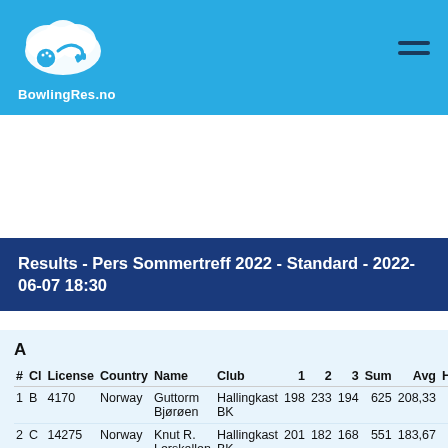[Figure (logo): BowlingRes.no logo with bowling ball and pins on a cloud, white on blue background]
Results - Pers Sommertreff 2022 - Standard - 2022-06-07 18:30
A
| # | Cl | License | Country | Name | Club | 1 | 2 | 3 | Sum | Avg | HC |
| --- | --- | --- | --- | --- | --- | --- | --- | --- | --- | --- | --- |
| 1 | B | 4170 | Norway | Guttorm Bjørøen | Hallingkast BK | 198 | 233 | 194 | 625 | 208,33 | 2 |
| 2 | C | 14275 | Norway | Knut R. Lerskallen | Hallingkast BK | 201 | 182 | 168 | 551 | 183,67 | 5 |
| 3 | B | 14614 | Norway | Ove Fonn | Mascot BK | 168 | 177 | 215 | 560 | 186,67 | 3 |